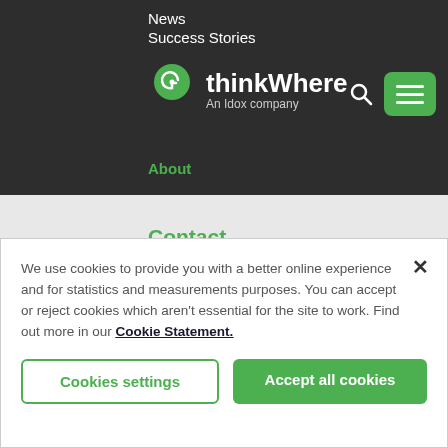News
Success Stories
thinkWhere An Idox company
About
Contact
thinkWhere Ltd
First Floor
The Grosvenor Building
72 Gordon Street
Glasgow G1 3RS
We use cookies to provide you with a better online experience and for statistics and measurements purposes. You can accept or reject cookies which aren't essential for the site to work. Find out more in our Cookie Statement.